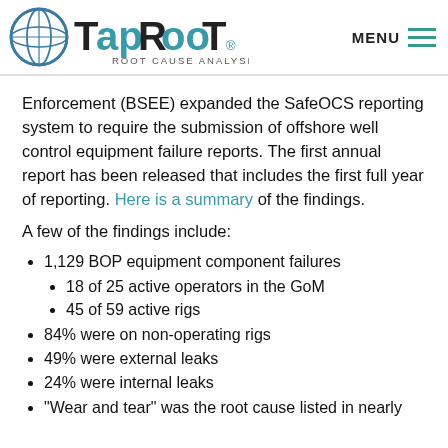TapRooT Root Cause Analysis — MENU
Enforcement (BSEE) expanded the SafeOCS reporting system to require the submission of offshore well control equipment failure reports. The first annual report has been released that includes the first full year of reporting. Here is a summary of the findings.
A few of the findings include:
1,129 BOP equipment component failures
18 of 25 active operators in the GoM
45 of 59 active rigs
84% were on non-operating rigs
49% were external leaks
24% were internal leaks
“Wear and tear” was the root cause listed in nearly